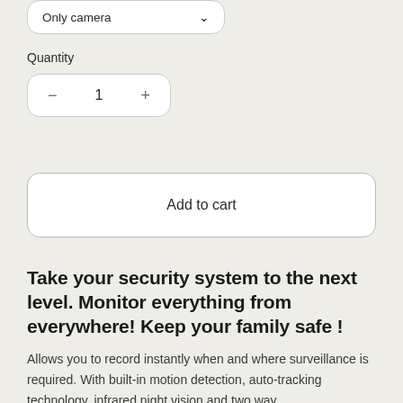[Figure (screenshot): Dropdown selector showing 'Only camera' with chevron icon]
Quantity
[Figure (screenshot): Quantity stepper control showing minus button, 1, plus button]
[Figure (screenshot): Add to cart button]
Take your security system to the next level. Monitor everything from everywhere! Keep your family safe !
Allows you to record instantly when and where surveillance is required. With built-in motion detection, auto-tracking technology, infrared night vision and two way